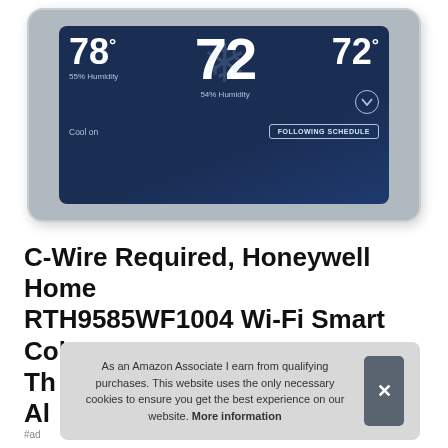[Figure (photo): Honeywell Home smart thermostat with color touchscreen display showing 78° current temperature, 72° set point in center, 72° on right, 55% Humidity, 54% Humidity, Cool on, and FOLLOWING SCHEDULE button. Device has a silver/gray frame.]
C-Wire Required, Honeywell Home RTH9585WF1004 Wi-Fi Smart Color Th... Ale...
As an Amazon Associate I earn from qualifying purchases. This website uses the only necessary cookies to ensure you get the best experience on our website. More information
#ad